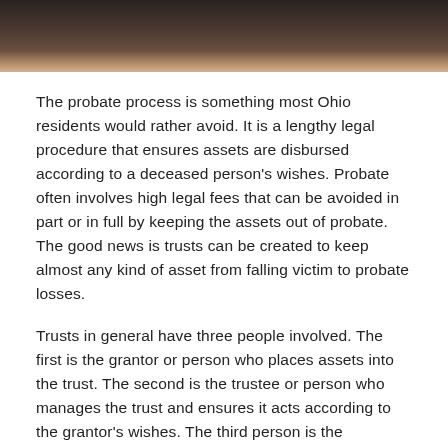[Figure (photo): Dark photographic header image, likely showing legal or judicial items (blurred dark background with brown/amber tones)]
The probate process is something most Ohio residents would rather avoid. It is a lengthy legal procedure that ensures assets are disbursed according to a deceased person's wishes. Probate often involves high legal fees that can be avoided in part or in full by keeping the assets out of probate. The good news is trusts can be created to keep almost any kind of asset from falling victim to probate losses.
Trusts in general have three people involved. The first is the grantor or person who places assets into the trust. The second is the trustee or person who manages the trust and ensures it acts according to the grantor's wishes. The third person is the